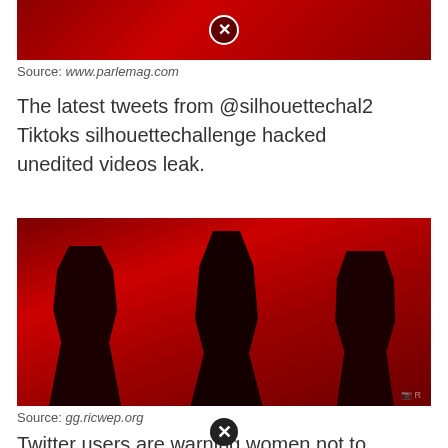[Figure (photo): Red-tinted image with a close/X button overlay at top]
Source: www.parlemag.com
The latest tweets from @silhouettechal2 Tiktoks silhouettechallenge hacked unedited videos leak.
[Figure (photo): Red-tinted silhouette challenge image showing dark silhouettes of people against a red background]
Source: gg.ricwep.org
Twitter users are warning women not to do tiktok's silhouette challenge nude or in